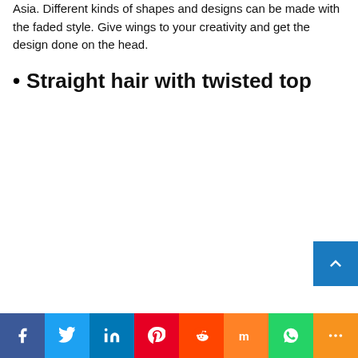Asia. Different kinds of shapes and designs can be made with the faded style. Give wings to your creativity and get the design done on the head.
Straight hair with twisted top